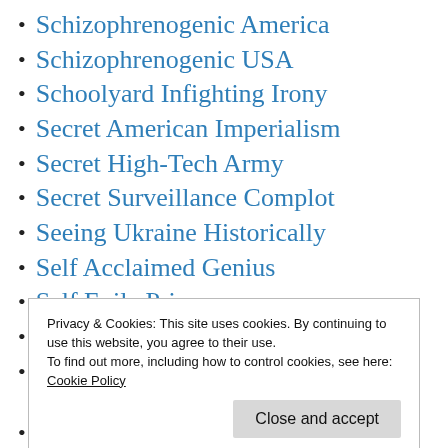Schizophrenogenic America
Schizophrenogenic USA
Schoolyard Infighting Irony
Secret American Imperialism
Secret High-Tech Army
Secret Surveillance Complot
Seeing Ukraine Historically
Self Acclaimed Genius
Self Exile Primer
Self Regime Change
Self-Seeking Generation
Privacy & Cookies: This site uses cookies. By continuing to use this website, you agree to their use.
To find out more, including how to control cookies, see here:
Cookie Policy
Shithole Countries Reconstitution